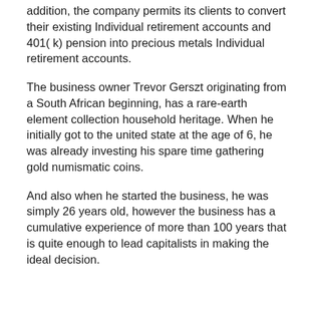addition, the company permits its clients to convert their existing Individual retirement accounts and 401( k) pension into precious metals Individual retirement accounts.
The business owner Trevor Gerszt originating from a South African beginning, has a rare-earth element collection household heritage. When he initially got to the united state at the age of 6, he was already investing his spare time gathering gold numismatic coins.
And also when he started the business, he was simply 26 years old, however the business has a cumulative experience of more than 100 years that is quite enough to lead capitalists in making the ideal decision.